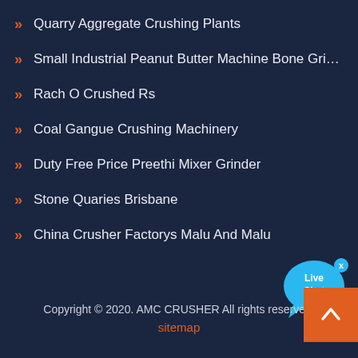Quarry Aggregate Crushing Plants
Small Industrial Peanut Butter Machine Bone Grinder And Collo...
Rach O Crushed Rs
Coal Gangue Crushing Machinery
Duty Free Price Preethi Mixer Grinder
Stone Quaries Brisbane
China Crusher Factorys Malu And Malu
[Figure (illustration): Live Chat button bubble in cyan/blue color with 'Live Chat' text and a close X button]
Copyright © 2020. AMC CRUSHER All rights reserved.
sitemap